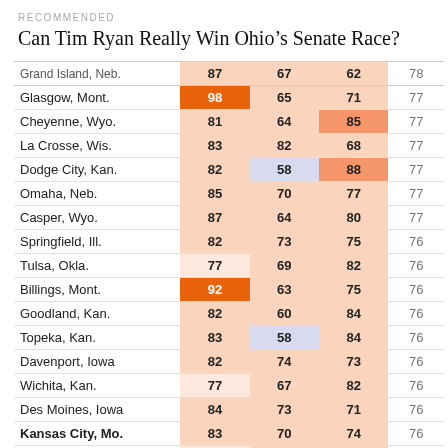RECOMMENDED
Can Tim Ryan Really Win Ohio's Senate Race?
| City | Col1 | Col2 | Col3 | Avg |
| --- | --- | --- | --- | --- |
| Grand Island, Neb. | 87 | 67 | 62 | 78 |
| Glasgow, Mont. | 98 | 65 | 71 | 77 |
| Cheyenne, Wyo. | 81 | 64 | 85 | 77 |
| La Crosse, Wis. | 83 | 82 | 68 | 77 |
| Dodge City, Kan. | 82 | 58 | 88 | 77 |
| Omaha, Neb. | 85 | 70 | 77 | 77 |
| Casper, Wyo. | 87 | 64 | 80 | 77 |
| Springfield, Ill. | 82 | 73 | 75 | 76 |
| Tulsa, Okla. | 77 | 69 | 82 | 76 |
| Billings, Mont. | 92 | 63 | 75 | 76 |
| Goodland, Kan. | 82 | 60 | 84 | 76 |
| Topeka, Kan. | 83 | 58 | 84 | 76 |
| Davenport, Iowa | 82 | 74 | 73 | 76 |
| Wichita, Kan. | 77 | 67 | 82 | 76 |
| Des Moines, Iowa | 84 | 73 | 71 | 76 |
| Kansas City, Mo. | 83 | 70 | 74 | 76 |
| South Bend, Ind. | 79 | 76 | 70 | 75 |